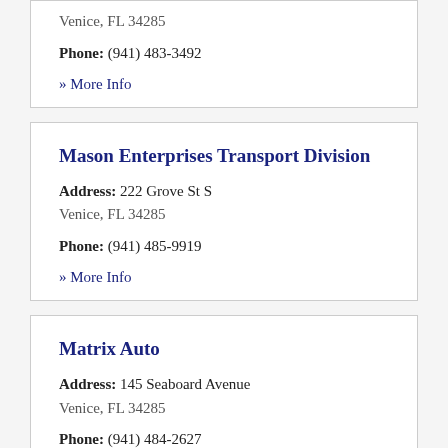Venice, FL 34285
Phone: (941) 483-3492
» More Info
Mason Enterprises Transport Division
Address: 222 Grove St S
Venice, FL 34285
Phone: (941) 485-9919
» More Info
Matrix Auto
Address: 145 Seaboard Avenue
Venice, FL 34285
Phone: (941) 484-2627